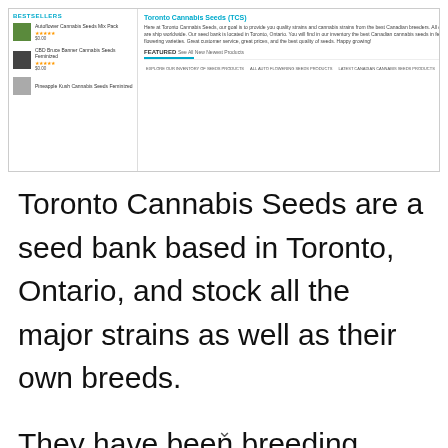[Figure (screenshot): Screenshot of the Toronto Cannabis Seeds (TCS) website showing bestseller products on the left panel and the site description and featured section on the right panel.]
Toronto Cannabis Seeds are a seed bank based in Toronto, Ontario, and stock all the major strains as well as their own breeds.
They have been breeding marijuana seeds for 15-years and been involved with various